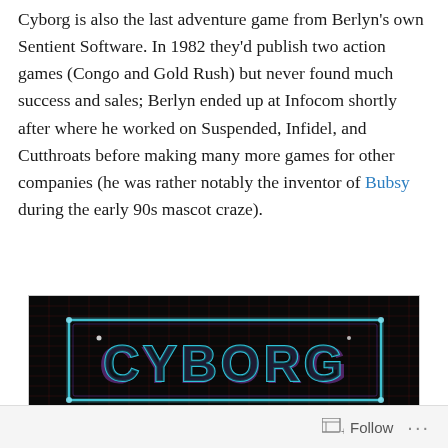Cyborg is also the last adventure game from Berlyn's own Sentient Software. In 1982 they'd publish two action games (Congo and Gold Rush) but never found much success and sales; Berlyn ended up at Infocom shortly after where he worked on Suspended, Infidel, and Cutthroats before making many more games for other companies (he was rather notably the inventor of Bubsy during the early 90s mascot craze).
[Figure (photo): Cyborg game title screen/cover art showing the word CYBORG in glowing cyan neon-style block letters against a dark background with a red grid pattern. The letters have a retro sci-fi aesthetic with glowing light effects.]